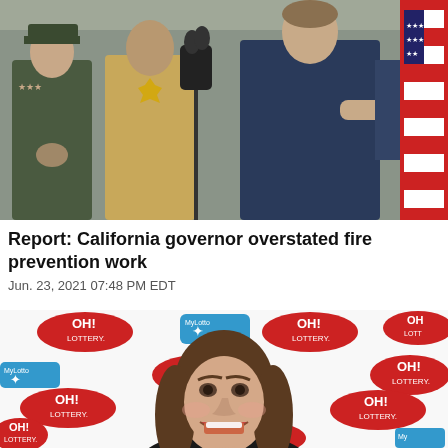[Figure (photo): Press conference scene with officials including a person in military uniform, a sheriff, and a man in a dark jacket speaking at a microphone podium, with an American flag visible on the right.]
Report: California governor overstated fire prevention work
Jun. 23, 2021 07:48 PM EDT
[Figure (photo): Young woman smiling in front of a step-and-repeat backdrop featuring OH! Lottery and MyLotto logos.]